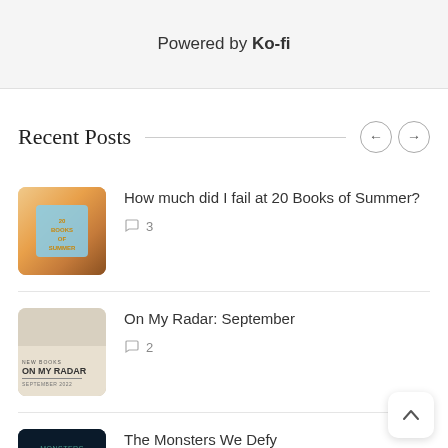Powered by Ko-fi
Recent Posts
How much did I fail at 20 Books of Summer?
3
On My Radar: September
2
The Monsters We Defy
3